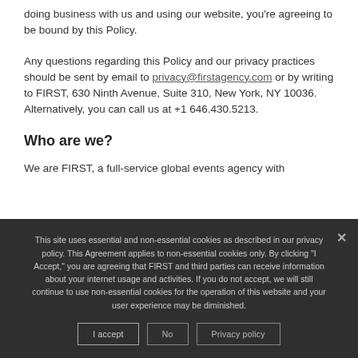doing business with us and using our website, you're agreeing to be bound by this Policy.
Any questions regarding this Policy and our privacy practices should be sent by email to privacy@firstagency.com or by writing to FIRST, 630 Ninth Avenue, Suite 310, New York, NY 10036. Alternatively, you can call us at +1 646.430.5213.
Who are we?
We are FIRST, a full-service global events agency with
This site uses essential and non-essential cookies as described in our privacy policy. This Agreement applies to non-essential cookies only. By clicking "I Accept," you are agreeing that FIRST and third parties can receive information about your internet usage and activities. If you do not accept, we will still continue to use non-essential cookies for the operation of this website and your user experience may be diminished.